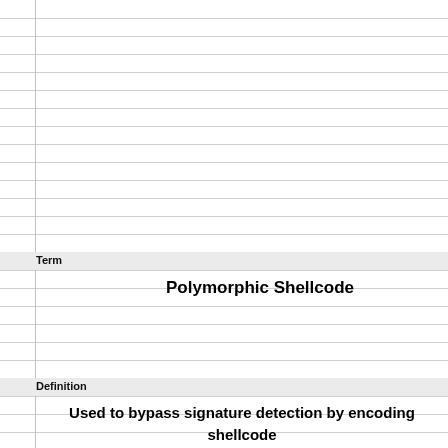Term
Polymorphic Shellcode
Definition
Used to bypass signature detection by encoding shellcode containing a stob that decodes the shellcode that follows